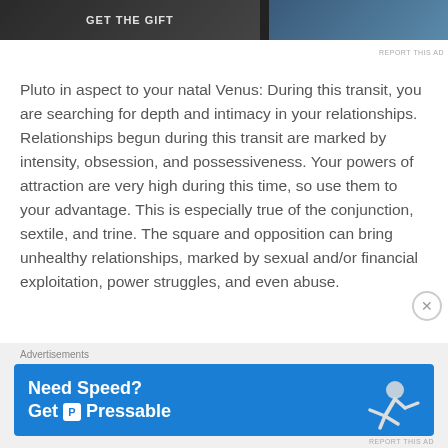[Figure (photo): Top advertisement banner with dark background on left and a photo/image on the right, with 'REPORT THIS AD' label below]
Pluto in aspect to your natal Venus: During this transit, you are searching for depth and intimacy in your relationships. Relationships begun during this transit are marked by intensity, obsession, and possessiveness. Your powers of attraction are very high during this time, so use them to your advantage. This is especially true of the conjunction, sextile, and trine. The square and opposition can bring unhealthy relationships, marked by sexual and/or financial exploitation, power struggles, and even abuse.
[Figure (screenshot): Bottom advertisement banner: 'Advertisements' label above a blue banner reading 'Need Speed? Get P Pressable' with a running/flying figure illustration. REPORT THIS AD label at bottom right.]